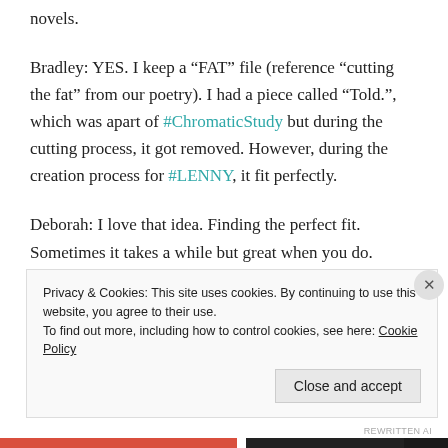novels.
Bradley: YES. I keep a “FAT” file (reference “cutting the fat” from our poetry). I had a piece called “Told.”, which was apart of #ChromaticStudy but during the cutting process, it got removed. However, during the creation process for #LENNY, it fit perfectly.
Deborah: I love that idea. Finding the perfect fit. Sometimes it takes a while but great when you do.
How do you fill the gap when you have cut a lot of
Privacy & Cookies: This site uses cookies. By continuing to use this website, you agree to their use.
To find out more, including how to control cookies, see here: Cookie Policy
Close and accept